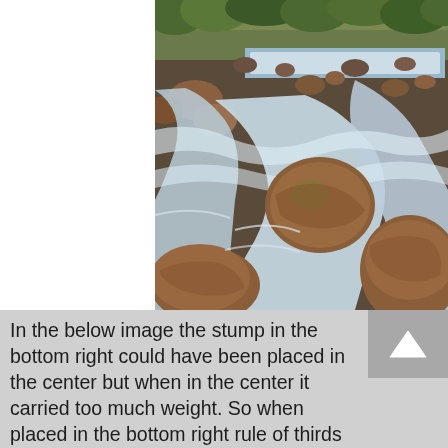[Figure (photo): Long-exposure photograph of a rocky stream or river with silky smooth white water flowing around large reddish-brown boulders. A small waterfall is visible in the background. Green trees and brush line the upper edge. The scene appears to be in a canyon or natural park setting.]
In the below image the stump in the bottom right could have been placed in the center but when in the center it carried too much weight. So when placed in the bottom right rule of thirds